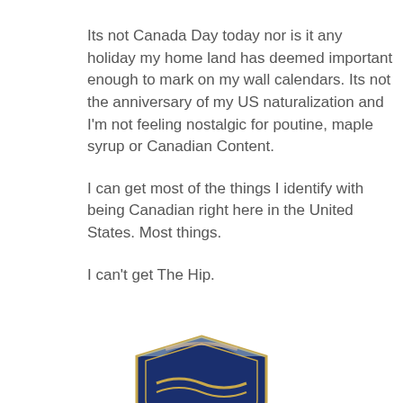Its not Canada Day today nor is it any holiday my home land has deemed important enough to mark on my wall calendars. Its not the anniversary of my US naturalization and I'm not feeling nostalgic for poutine, maple syrup or Canadian Content.
I can get most of the things I identify with being Canadian right here in the United States. Most things.
I can't get The Hip.
[Figure (illustration): Partial view of a shield/crest logo, partially cropped at bottom of page, showing dark blue and gold colors with decorative elements.]